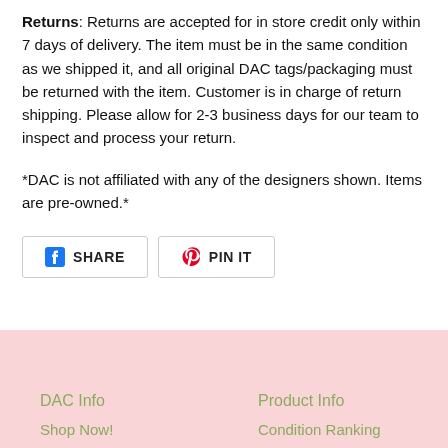Returns: Returns are accepted for in store credit only within 7 days of delivery. The item must be in the same condition as we shipped it, and all original DAC tags/packaging must be returned with the item. Customer is in charge of return shipping. Please allow for 2-3 business days for our team to inspect and process your return.
*DAC is not affiliated with any of the designers shown. Items are pre-owned.*
[Figure (other): Social sharing buttons: Facebook SHARE button and Pinterest PIN IT button]
DAC Info | Product Info | Shop Now! | Condition Ranking